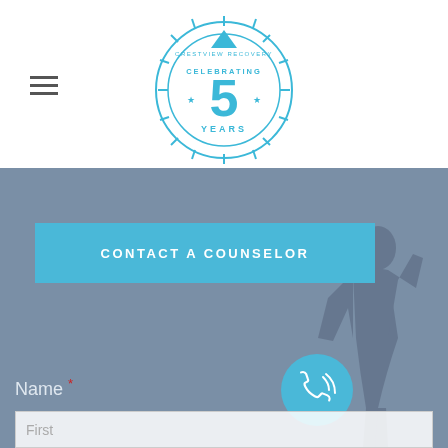[Figure (logo): Crestview Recovery logo — circular badge in cyan/blue with 'CELEBRATING 5 YEARS' text, mountain triangle at top, starburst rays around circle]
CONTACT A COUNSELOR
Name *
First